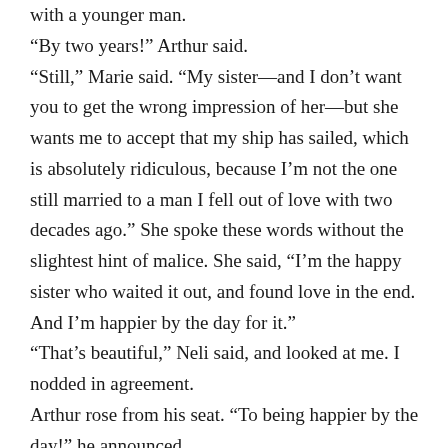with a younger man.
“By two years!” Arthur said.
“Still,” Marie said. “My sister—and I don’t want you to get the wrong impression of her—but she wants me to accept that my ship has sailed, which is absolutely ridiculous, because I’m not the one still married to a man I fell out of love with two decades ago.” She spoke these words without the slightest hint of malice. She said, “I’m the happy sister who waited it out, and found love in the end. And I’m happier by the day for it.”
“That’s beautiful,” Neli said, and looked at me. I nodded in agreement.
Arthur rose from his seat. “To being happier by the day!” he announced.